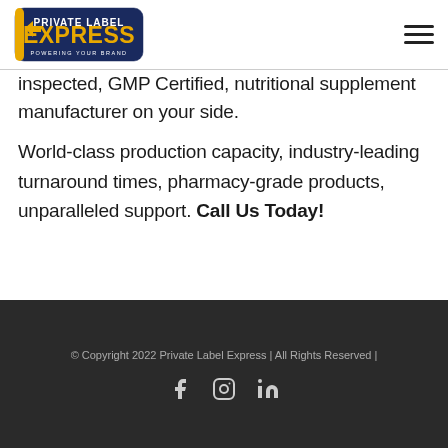Private Label Express — POWERING YOUR BRAND
inspected, GMP Certified, nutritional supplement manufacturer on your side.
World-class production capacity, industry-leading turnaround times, pharmacy-grade products, unparalleled support. Call Us Today!
© Copyright 2022 Private Label Express | All Rights Reserved |